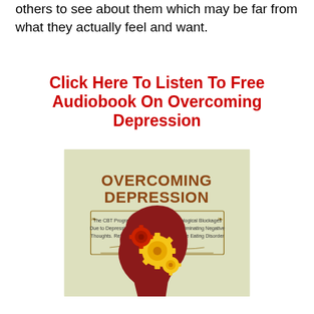others to see about them which may be far from what they actually feel and want.
Click Here To Listen To Free Audiobook On Overcoming Depression
[Figure (illustration): Book cover for 'Overcoming Depression: The CBT Program to Overcoming Psychological Blockages Due to Depression, Anxiety, Phobias and Eliminating Negative Thoughts. Retraining Your Brain, Resolve the Eating Disorder'. Features title text in large brown/orange letters, subtitle in smaller text within a decorative bordered box, and an illustration of a human head silhouette with colorful gears inside the brain area.]